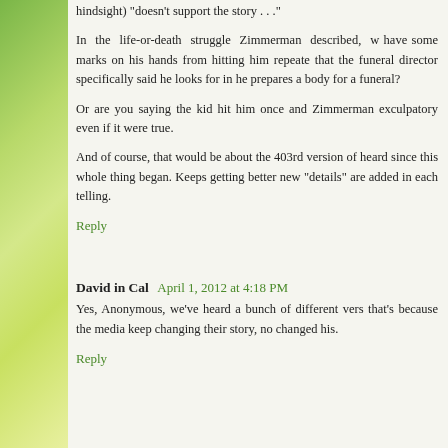hindsight) "doesn't support the story . . ."
In the life-or-death struggle Zimmerman described, w have some marks on his hands from hitting him repeate that the funeral director specifically said he looks for in he prepares a body for a funeral?
Or are you saying the kid hit him once and Zimmerman exculpatory even if it were true.
And of course, that would be about the 403rd version of heard since this whole thing began. Keeps getting better new "details" are added in each telling.
Reply
David in Cal  April 1, 2012 at 4:18 PM
Yes, Anonymous, we've heard a bunch of different vers that's because the media keep changing their story, no changed his.
Reply